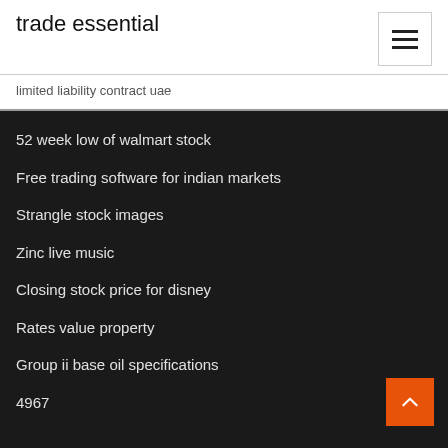trade essential
limited liability contract uae
52 week low of walmart stock
Free trading software for indian markets
Strangle stock images
Zinc live music
Closing stock price for disney
Rates value property
Group ii base oil specifications
4967